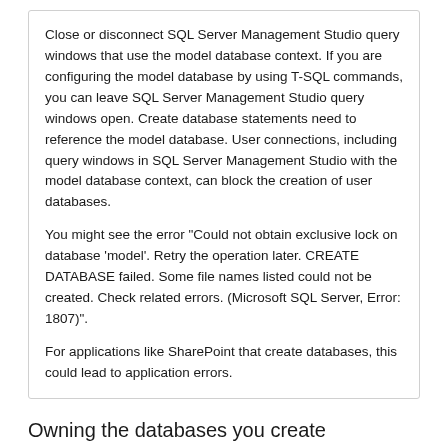Close or disconnect SQL Server Management Studio query windows that use the model database context. If you are configuring the model database by using T-SQL commands, you can leave SQL Server Management Studio query windows open. Create database statements need to reference the model database. User connections, including query windows in SQL Server Management Studio with the model database context, can block the creation of user databases.
You might see the error "Could not obtain exclusive lock on database 'model'. Retry the operation later. CREATE DATABASE failed. Some file names listed could not be created. Check related errors. (Microsoft SQL Server, Error: 1807)".
For applications like SharePoint that create databases, this could lead to application errors.
Owning the databases you create
The login that runs the CREATE DATABASE statement will become the owner of any database you create, even if the account you are using is not a member of the sysadmin group. Any principal that can create a database becomes the owner of that database, even if, for example, they have only membership to the dbcreator built-in server role.
Ideally, databases are not owned by named individual accounts. You